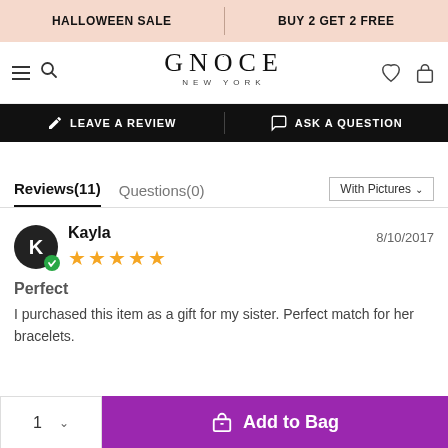HALLOWEEN SALE | BUY 2 GET 2 FREE
[Figure (screenshot): GNOCE NEW YORK logo with hamburger menu, search, heart and bag icons]
LEAVE A REVIEW | ASK A QUESTION
Reviews(11)  Questions(0)  With Pictures
Kayla  8/10/2017  ★★★★★  Perfect  I purchased this item as a gift for my sister. Perfect match for her bracelets.
1  ∨  Add to Bag